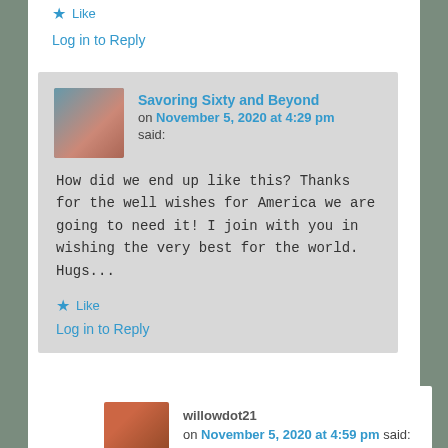★ Like
Log in to Reply
Savoring Sixty and Beyond on November 5, 2020 at 4:29 pm said:
How did we end up like this? Thanks for the well wishes for America we are going to need it! I join with you in wishing the very best for the world. Hugs...
★ Like
Log in to Reply
willowdot21 on November 5, 2020 at 4:59 pm said: